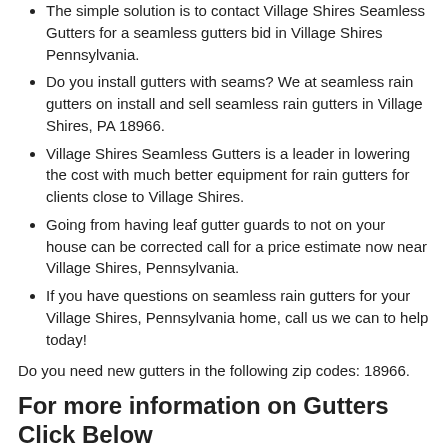The simple solution is to contact Village Shires Seamless Gutters for a seamless gutters bid in Village Shires Pennsylvania.
Do you install gutters with seams? We at seamless rain gutters on install and sell seamless rain gutters in Village Shires, PA 18966.
Village Shires Seamless Gutters is a leader in lowering the cost with much better equipment for rain gutters for clients close to Village Shires.
Going from having leaf gutter guards to not on your house can be corrected call for a price estimate now near Village Shires, Pennsylvania.
If you have questions on seamless rain gutters for your Village Shires, Pennsylvania home, call us we can to help today!
Do you need new gutters in the following zip codes: 18966.
For more information on Gutters Click Below
Village Shires Rain Gutters
Gutter Contractor for Village Shires Pennsylvania
Seamless Gutters for Village Shires Pennsylvania